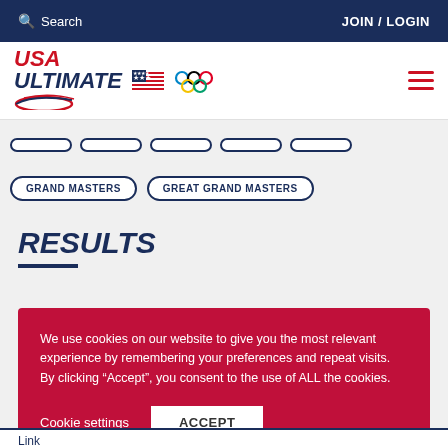Search | JOIN / LOGIN
[Figure (logo): USA Ultimate logo with Olympic rings and disc graphic]
GRAND MASTERS
GREAT GRAND MASTERS
RESULTS
We use cookies on our website to give you the most relevant experience by remembering your preferences and repeat visits. By clicking “Accept”, you consent to the use of ALL the cookies.
Cookie settings | ACCEPT